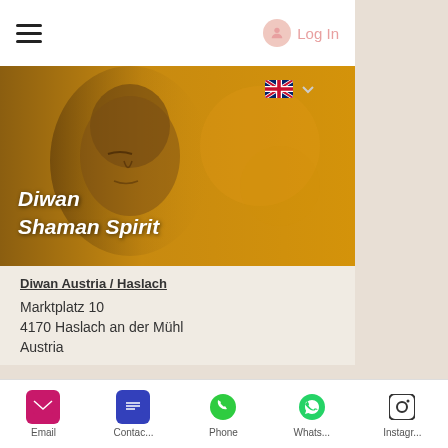Log In
[Figure (screenshot): Website header with Buddha statue image on golden/amber background with text 'Diwan Shaman Spirit' in white italic bold font, and UK flag language selector]
Diwan Austria / Haslach
Marktplatz 10
4170 Haslach an der Mühl
Austria
Diwan Shaman Spirit © Copyright. All rights reserved
Privacy Statement
Email   Contac...   Phone   Whats...   Instagr...